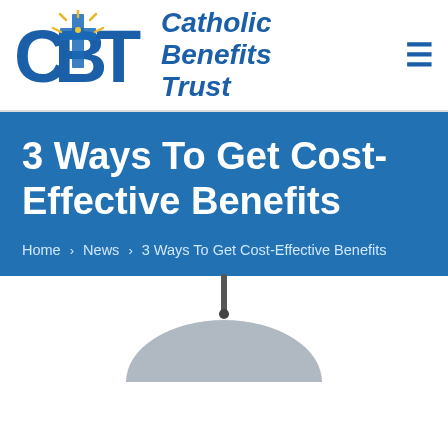[Figure (logo): Catholic Benefits Trust (CBT) logo with blue CBT letters and cross icon with gold sunburst, followed by italic bold blue text 'Catholic Benefits Trust']
3 Ways To Get Cost-Effective Benefits
Home › News › 3 Ways To Get Cost-Effective Benefits
[Figure (photo): Partial view of a grey umbrella handle/tip at the bottom of the page against white background]